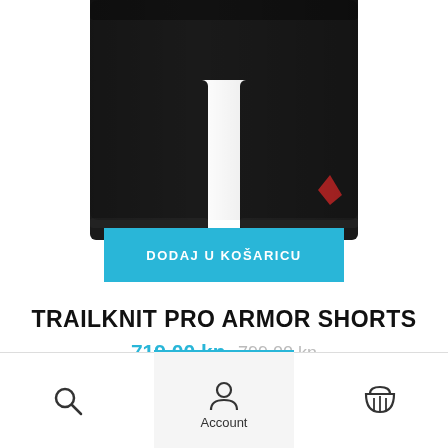[Figure (photo): Black cycling/armor shorts product photo, top portion visible, with a small red logo detail on lower right leg]
DODAJ U KOŠARICU
TRAILKNIT PRO ARMOR SHORTS
719,00 kn  799,00 kn
[Figure (photo): Second product (grey shorts) partially visible at bottom]
[Figure (screenshot): Bottom navigation bar with search icon, account icon with label 'Account', and shopping cart icon]